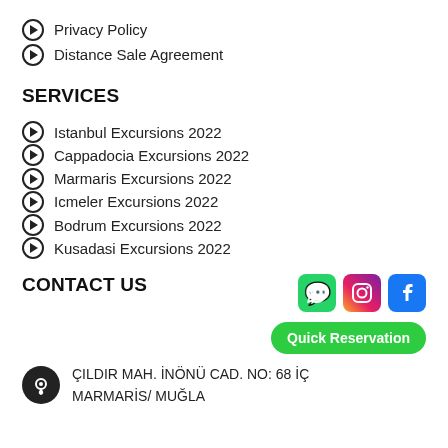Privacy Policy
Distance Sale Agreement
SERVICES
Istanbul Excursions 2022
Cappadocia Excursions 2022
Marmaris Excursions 2022
Icmeler Excursions 2022
Bodrum Excursions 2022
Kusadasi Excursions 2022
CONTACT US
ÇILDIR MAH. İNÖNÜ CAD. NO: 68 İÇ KAPI NO:1 MARMARİS/ MUĞLA